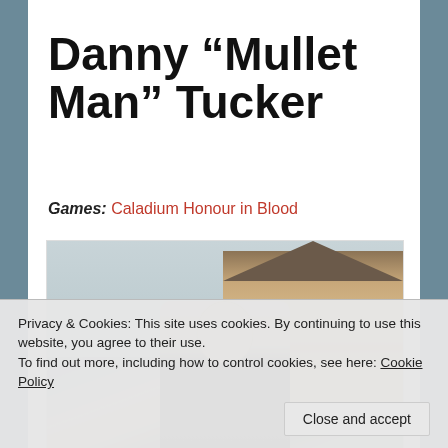Danny “Mullet Man” Tucker
Games: Caladium Honour in Blood
[Figure (photo): A man wearing glasses standing outdoors in front of a residential house and a car. He is wearing a dark t-shirt.]
Privacy & Cookies: This site uses cookies. By continuing to use this website, you agree to their use.
To find out more, including how to control cookies, see here: Cookie Policy
Close and accept